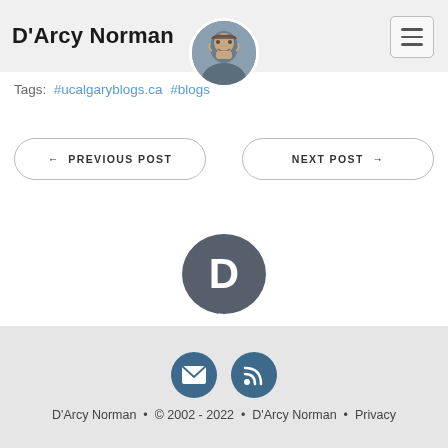D'Arcy Norman
Tags: #ucalgaryblogs.ca #blogs
← PREVIOUS POST
NEXT POST →
[Figure (logo): Disqus comment platform logo — dark gray speech bubble circle with white letter D]
D'Arcy Norman • © 2002 - 2022 • D'Arcy Norman • Privacy